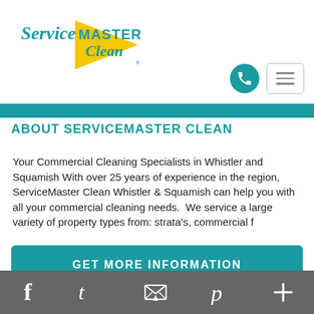[Figure (logo): ServiceMaster Clean logo with teal text and yellow triangle]
[Figure (other): Teal phone button circle icon and hamburger menu button]
[Figure (other): Teal horizontal banner strip]
ABOUT SERVICEMASTER CLEAN
Your Commercial Cleaning Specialists in Whistler and Squamish With over 25 years of experience in the region, ServiceMaster Clean Whistler & Squamish can help you with all your commercial cleaning needs.  We service a large variety of property types from: strata’s, commercial f
[Figure (other): GET MORE INFORMATION teal CTA button]
Social icons: Facebook, Twitter, Email, Pinterest, More